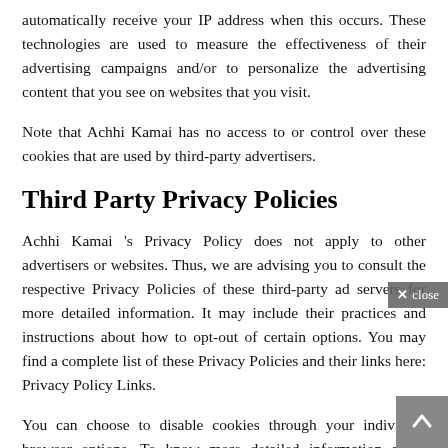automatically receive your IP address when this occurs. These technologies are used to measure the effectiveness of their advertising campaigns and/or to personalize the advertising content that you see on websites that you visit.
Note that Achhi Kamai has no access to or control over these cookies that are used by third-party advertisers.
Third Party Privacy Policies
Achhi Kamai 's Privacy Policy does not apply to other advertisers or websites. Thus, we are advising you to consult the respective Privacy Policies of these third-party ad servers for more detailed information. It may include their practices and instructions about how to opt-out of certain options. You may find a complete list of these Privacy Policies and their links here: Privacy Policy Links.
You can choose to disable cookies through your individual browser options. To know more detailed information about cookie management with specific web browsers, it can be found at the browsers' respective websites. What Are